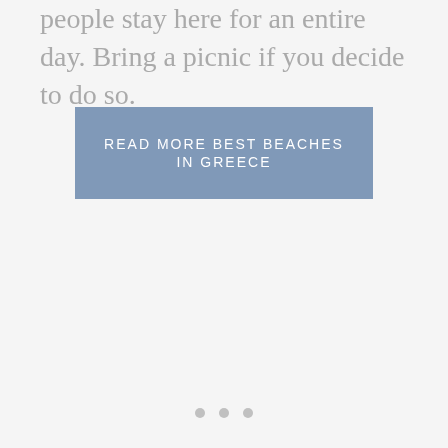people stay here for an entire day. Bring a picnic if you decide to do so.
READ MORE BEST BEACHES IN GREECE
[Figure (other): Three navigation dots (pagination indicators) at the bottom of the page]